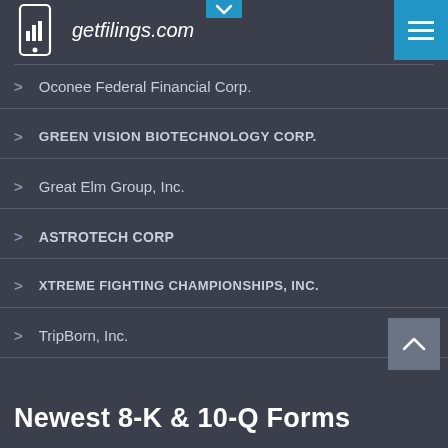getfilings.com
Oconee Federal Financial Corp.
GREEN VISION BIOTECHNOLOGY CORP.
Great Elm Group, Inc.
ASTROTECH Corp
XTREME FIGHTING CHAMPIONSHIPS, INC.
TripBorn, Inc.
Newest 8-K & 10-Q Forms